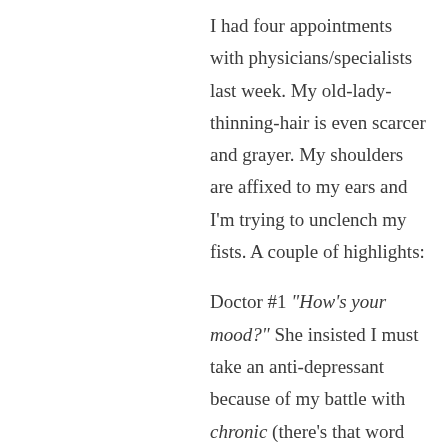I had four appointments with physicians/specialists last week. My old-lady-thinning-hair is even scarcer and grayer. My shoulders are affixed to my ears and I'm trying to unclench my fists. A couple of highlights:
Doctor #1 "How's your mood?" She insisted I must take an anti-depressant because of my battle with chronic (there's that word again!!) pain. I told her the last anti-depressant I tried caused my hands to shake uncontrollably. "Let's try another one!" OK, I'm trying. My hands are